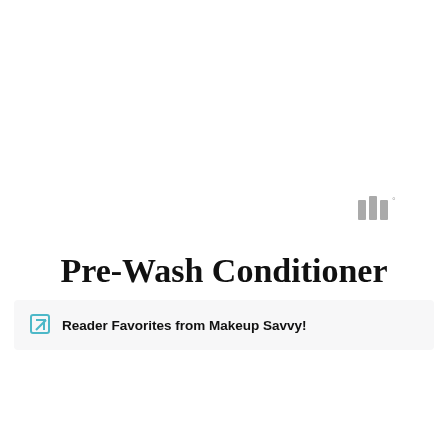[Figure (logo): Gray stylized logo mark resembling stacked lines with a small degree symbol, positioned upper right area]
Pre-Wash Conditioner
Reader Favorites from Makeup Savvy!